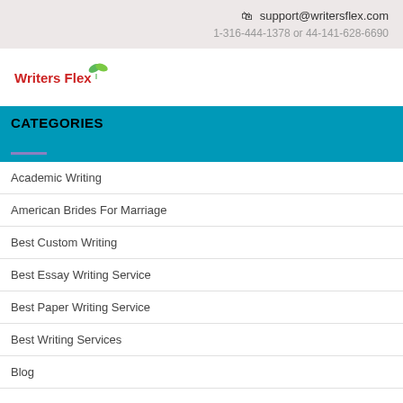support@writersflex.com
1-316-444-1378 or 44-141-628-6690
[Figure (logo): Writers Flex logo with red text and green leaf icon]
CATEGORIES
Academic Writing
American Brides For Marriage
Best Custom Writing
Best Essay Writing Service
Best Paper Writing Service
Best Writing Services
Blog